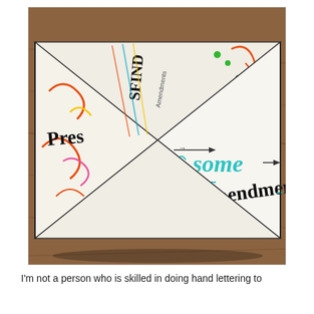[Figure (photo): A paper fortune teller (cootie catcher) folded origami structure lying on a wooden table. It is decorated with colorful hand lettering and illustrations. The front face reads 'some Ammendments' in teal and black gothic/blackletter style lettering. Other panels show partial text including 'Pres', 'FIND' and decorative swirls in orange, pink, yellow, and teal.]
I'm not a person who is skilled in doing hand lettering to